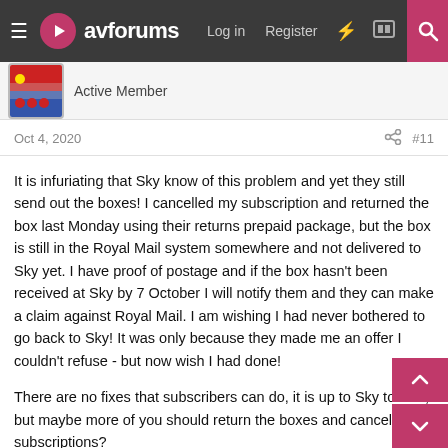avforums — Log in  Register
Active Member
Oct 4, 2020  #11
It is infuriating that Sky know of this problem and yet they still send out the boxes! I cancelled my subscription and returned the box last Monday using their returns prepaid package, but the box is still in the Royal Mail system somewhere and not delivered to Sky yet. I have proof of postage and if the box hasn't been received at Sky by 7 October I will notify them and they can make a claim against Royal Mail. I am wishing I had never bothered to go back to Sky! It was only because they made me an offer I couldn't refuse - but now wish I had done!

There are no fixes that subscribers can do, it is up to Sky to fix it, but maybe more of you should return the boxes and cancel your subscriptions?

I am happy to use a BTPVR and also a superb Manhattan box,